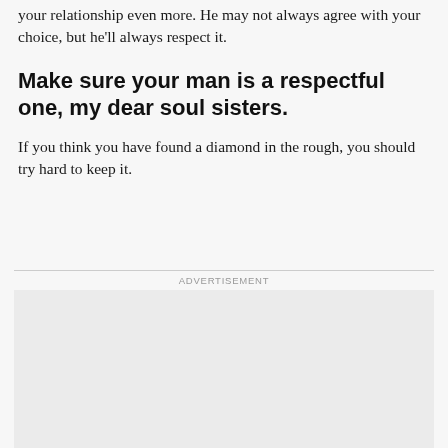your relationship even more. He may not always agree with your choice, but he'll always respect it.
Make sure your man is a respectful one, my dear soul sisters.
If you think you have found a diamond in the rough, you should try hard to keep it.
ADVERTISEMENT
[Figure (other): Advertisement placeholder box, light grey background]